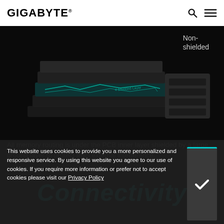GIGABYTE
[Figure (illustration): PCB cross-section illustration showing shielded memory routing layers on the left (teal circuit board layers visible) and non-shielded module on the right, on a dark background. 'Non-shielded' label in grey text to the upper right.]
All memory routing is under the PCB inner layer shielded by a large ground layer to protect from external interference.
Connectivity
This website uses cookies to provide you a more personalized and responsive service. By using this website you agree to our use of cookies. If you require more information or prefer not to accept cookies please visit our Privacy Policy